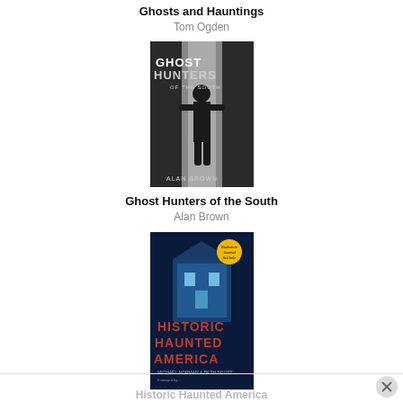Ghosts and Hauntings
Tom Ogden
[Figure (photo): Book cover of 'Ghost Hunters of the South' by Alan Brown showing a dark silhouette figure in a misty hallway]
Ghost Hunters of the South
Alan Brown
[Figure (photo): Book cover of 'Historic Haunted America' by Michael Norman and Beth Scott showing a glowing blue haunted house at night with an award seal]
Historic Haunted America